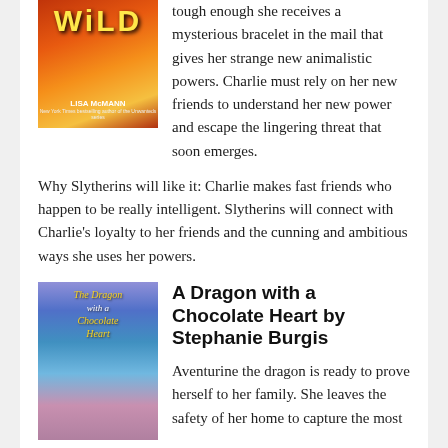[Figure (illustration): Book cover for 'Wild' by Lisa McMann, showing two figures against a fiery orange-red background]
tough enough she receives a mysterious bracelet in the mail that gives her strange new animalistic powers. Charlie must rely on her new friends to understand her new power and escape the lingering threat that soon emerges.
Why Slytherins will like it: Charlie makes fast friends who happen to be really intelligent. Slytherins will connect with Charlie's loyalty to her friends and the cunning and ambitious ways she uses her powers.
[Figure (illustration): Book cover for 'The Dragon with a Chocolate Heart' by Stephanie Burgis, showing a dragon and a girl in a purple dress against a blue fantasy background]
A Dragon with a Chocolate Heart by Stephanie Burgis
Aventurine the dragon is ready to prove herself to her family. She leaves the safety of her home to capture the most